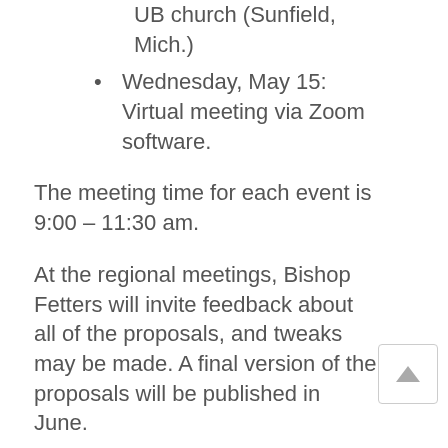UB church (Sunfield, Mich.)
Wednesday, May 15: Virtual meeting via Zoom software.
The meeting time for each event is 9:00 – 11:30 am.
At the regional meetings, Bishop Fetters will invite feedback about all of the proposals, and tweaks may be made. A final version of the proposals will be published in June.
Please register for a regional meeting, if you plan to attend.